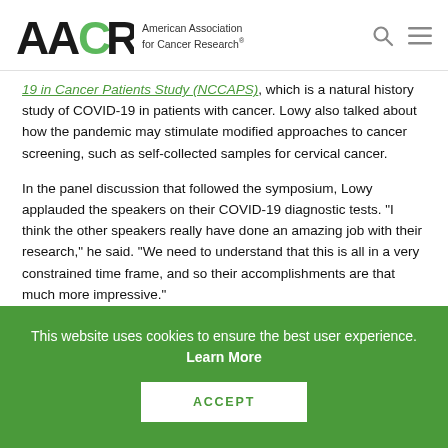AACR — American Association for Cancer Research
19 in Cancer Patients Study (NCCAPS), which is a natural history study of COVID-19 in patients with cancer. Lowy also talked about how the pandemic may stimulate modified approaches to cancer screening, such as self-collected samples for cervical cancer.
In the panel discussion that followed the symposium, Lowy applauded the speakers on their COVID-19 diagnostic tests. "I think the other speakers really have done an amazing job with their research," he said. "We need to understand that this is all in a very constrained time frame, and so their accomplishments are that much more impressive."
This website uses cookies to ensure the best user experience. Learn More
ACCEPT